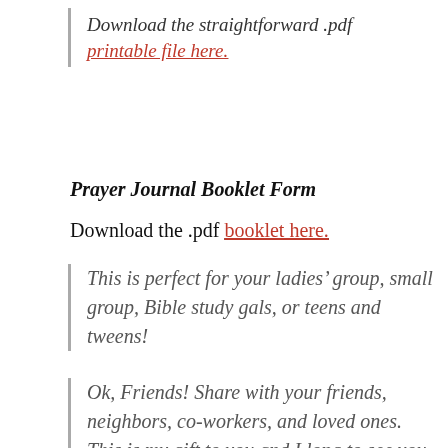Download the straightforward .pdf printable file here.
Prayer Journal Booklet Form
Download the .pdf booklet here.
This is perfect for your ladies’ group, small group, Bible study gals, or teens and tweens!
Ok, Friends! Share with your friends, neighbors, co-workers, and loved ones. This is my gift to you and I long to see you grow closer to Jesus. That’s what prayer